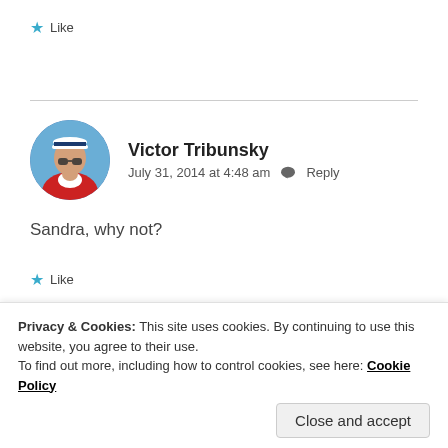★ Like
Victor Tribunsky
July 31, 2014 at 4:48 am  Reply
Sandra, why not?
★ Like
Privacy & Cookies: This site uses cookies. By continuing to use this website, you agree to their use.
To find out more, including how to control cookies, see here: Cookie Policy